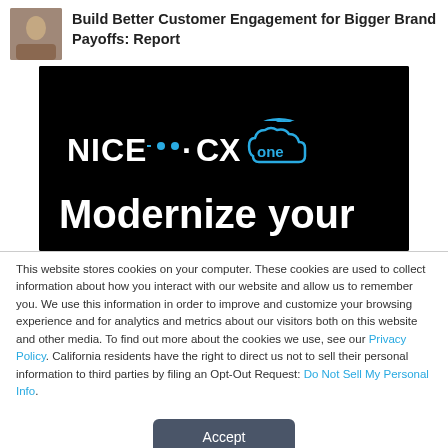Build Better Customer Engagement for Bigger Brand Payoffs: Report
[Figure (screenshot): NICE CXone advertisement banner with black background showing 'NICE·CXone' logo and 'Modernize your' text]
This website stores cookies on your computer. These cookies are used to collect information about how you interact with our website and allow us to remember you. We use this information in order to improve and customize your browsing experience and for analytics and metrics about our visitors both on this website and other media. To find out more about the cookies we use, see our Privacy Policy. California residents have the right to direct us not to sell their personal information to third parties by filing an Opt-Out Request: Do Not Sell My Personal Info.
Accept